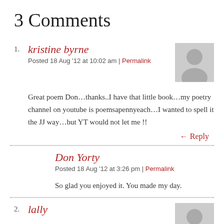3 Comments
1. kristine byrne
Posted 18 Aug '12 at 10:02 am | Permalink
Great poem Don…thanks..I have that little book…my poetry channel on youtube is poemsapennyeach…I wanted to spell it the JJ way…but YT would not let me !!
← Reply
Don Yorty
Posted 18 Aug '12 at 3:26 pm | Permalink
So glad you enjoyed it. You made my day.
2. lally